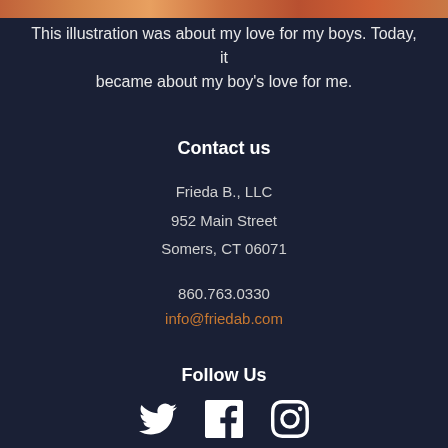[Figure (photo): Partial image strip at top of page showing illustration with warm orange/red tones]
This illustration was about my love for my boys. Today, it became about my boy's love for me.
Contact us
Frieda B., LLC
952 Main Street
Somers, CT 06071
860.763.0330
info@friedab.com
Follow Us
[Figure (illustration): Social media icons: Twitter bird, Facebook F, Instagram camera]